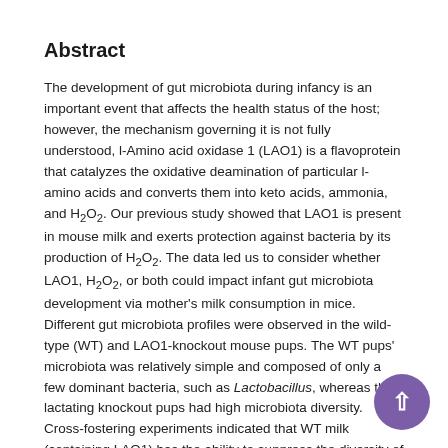Abstract
The development of gut microbiota during infancy is an important event that affects the health status of the host; however, the mechanism governing it is not fully understood, l-Amino acid oxidase 1 (LAO1) is a flavoprotein that catalyzes the oxidative deamination of particular l-amino acids and converts them into keto acids, ammonia, and H₂O₂. Our previous study showed that LAO1 is present in mouse milk and exerts protection against bacteria by its production of H₂O₂. The data led us to consider whether LAO1, H₂O₂, or both could impact infant gut microbiota development via mother's milk consumption in mice. Different gut microbiota profiles were observed in the wild-type (WT) and LAO1-knockout mouse pups. The WT pups' microbiota was relatively simple and composed of only a few dominant bacteria, such as Lactobacillus, whereas the lactating knockout pups had high microbiota diversity. Cross-fostering experiments indicated that WT milk (containing LAO1) has the ability to suppress the diversity of microbiota in pups. We observed that the stomach content of